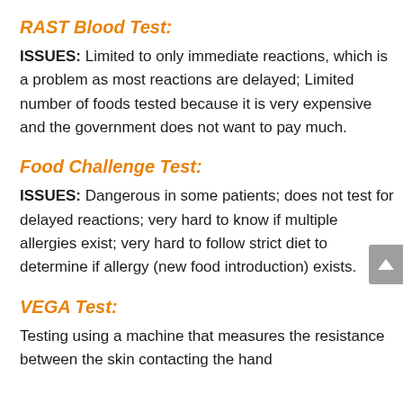RAST Blood Test:
ISSUES: Limited to only immediate reactions, which is a problem as most reactions are delayed; Limited number of foods tested because it is very expensive and the government does not want to pay much.
Food Challenge Test:
ISSUES: Dangerous in some patients; does not test for delayed reactions; very hard to know if multiple allergies exist; very hard to follow strict diet to determine if allergy (new food introduction) exists.
VEGA Test:
Testing using a machine that measures the resistance between the skin contacting the hand